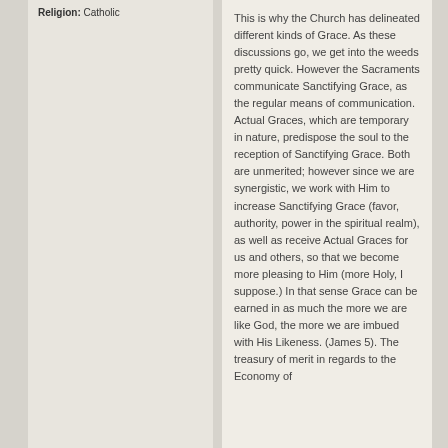Religion: Catholic
This is why the Church has delineated different kinds of Grace. As these discussions go, we get into the weeds pretty quick. However the Sacraments communicate Sanctifying Grace, as the regular means of communication. Actual Graces, which are temporary in nature, predispose the soul to the reception of Sanctifying Grace. Both are unmerited; however since we are synergistic, we work with Him to increase Sanctifying Grace (favor, authority, power in the spiritual realm), as well as receive Actual Graces for us and others, so that we become more pleasing to Him (more Holy, I suppose.) In that sense Grace can be earned in as much the more we are like God, the more we are imbued with His Likeness. (James 5). The treasury of merit in regards to the Economy of